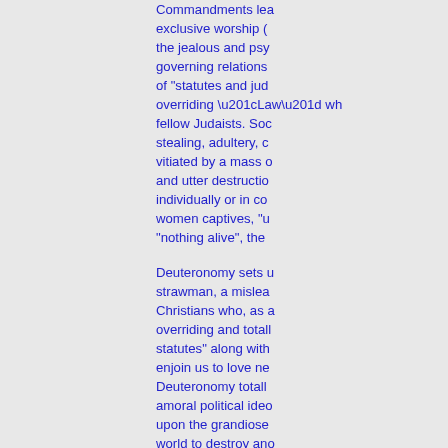Commandments lea exclusive worship ( the jealous and psy governing relations of "statutes and jud overriding “Law” wh fellow Judaists. Soc stealing, adultery, c vitiated by a mass o and utter destructio individually or in co women captives, "u "nothing alive", the so on.
Deuteronomy sets u strawman, a mislea Christians who, as a overriding and totall statutes" along with enjoin us to love ne Deuteronomy totall amoral political ideo upon the grandiose world to destroy ano world. For instance coveting etc are foll hearts are 'set on th commandments' wil building, houses full not dig, vineyards a